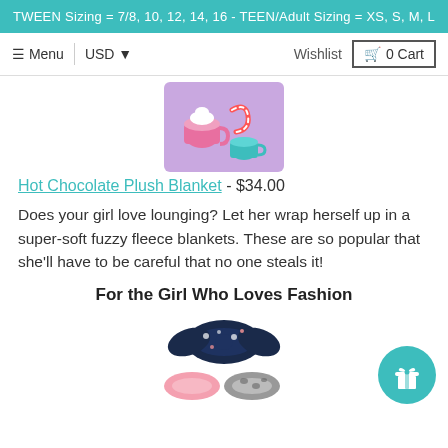TWEEN Sizing = 7/8, 10, 12, 14, 16 - TEEN/Adult Sizing = XS, S, M, L
≡ Menu  |  USD ▾                              Wishlist  🛒 0 Cart
[Figure (photo): Purple plush blanket with hot chocolate mug and colorful pattern design]
Hot Chocolate Plush Blanket - $34.00
Does your girl love lounging? Let her wrap herself up in a super-soft fuzzy fleece blankets. These are so popular that she'll have to be careful that no one steals it!
For the Girl Who Loves Fashion
[Figure (photo): Scrunchie hair accessories in navy floral, pink and leopard print styles]